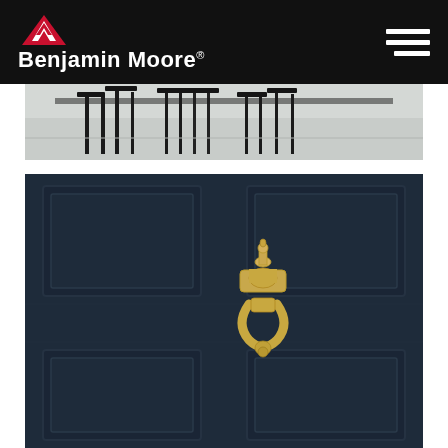[Figure (logo): Benjamin Moore logo with red mountain triangle mark and white text on black header bar]
[Figure (photo): Interior room scene showing dark chairs and table legs on light floor, partial view]
[Figure (photo): Close-up of a navy blue paneled front door with a brass door knocker]